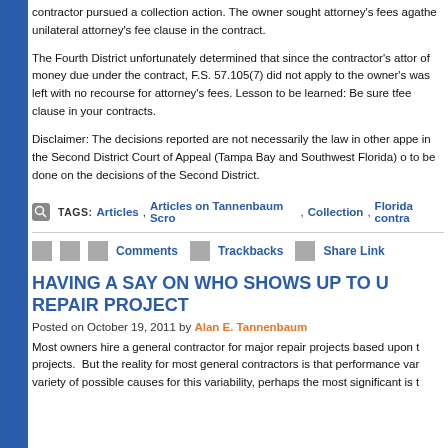contractor pursued a collection action. The owner sought attorney's fees against the contractor under the unilateral attorney's fee clause in the contract.
The Fourth District unfortunately determined that since the contractor's attorney fee claim was for a sum of money due under the contract, F.S. 57.105(7) did not apply to the owner's counterclaim. The owner was left with no recourse for attorney's fees. Lesson to be learned: Be sure to have a bilateral attorney's fee clause in your contracts.
Disclaimer: The decisions reported are not necessarily the law in other appellate districts. We practice in the Second District Court of Appeal (Tampa Bay and Southwest Florida) only, and thus our focus needs to be done on the decisions of the Second District.
TAGS: Articles, Articles on Tannenbaum Scro, Collection, Florida contra...
Comments   Trackbacks   Share Link
HAVING A SAY ON WHO SHOWS UP TO U... REPAIR PROJECT
Posted on October 19, 2011 by Alan E. Tannenbaum
Most owners hire a general contractor for major repair projects based upon t... projects. But the reality for most general contractors is that performance var... variety of possible causes for this variability, perhaps the most significant is t...